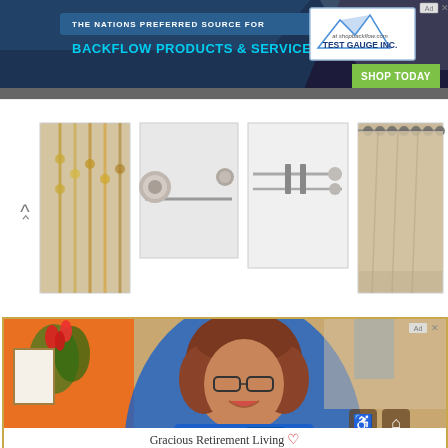[Figure (screenshot): Top banner advertisement for backflow products and services - Test Gauge Inc. with 'The Nations Preferred Source For Backflow Products & Services' text and 'Shop Today' green button]
[Figure (photo): Product carousel showing curtain rods and hardware: decorative rods, double curtain rod set, and curtains with grommets. Left arrow navigation visible.]
[Figure (photo): Retirement living advertisement showing smiling older woman in blue 'Pet Friendly' shirt painting on canvas with tulips in background]
Gracious Retirement Living
Come Share